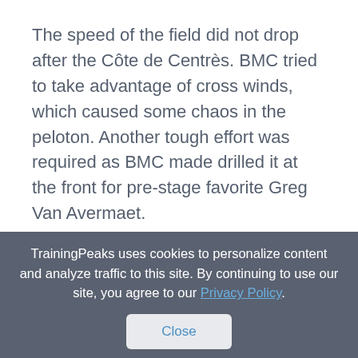The speed of the field did not drop after the Côte de Centrès. BMC tried to take advantage of cross winds, which caused some chaos in the peloton. Another tough effort was required as BMC made drilled it at the front for pre-stage favorite Greg Van Avermaet.
This hard six-minute effort saw Brown jump into the bunch lineout and fight to hold the wheel, trying to keep up with the BMC effort. Numerous
TrainingPeaks uses cookies to personalize content and analyze traffic to this site. By continuing to use our site, you agree to our Privacy Policy.
Close